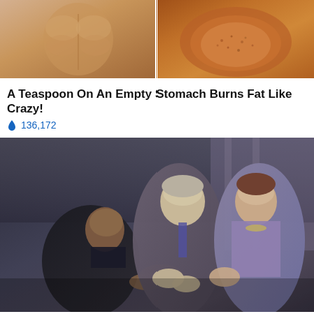[Figure (photo): Two photos side by side: left shows muscular torso/abs, right shows spice in a bowl]
A Teaspoon On An Empty Stomach Burns Fat Like Crazy!
🔥 136,172
[Figure (photo): Photo of three political figures (Obama, Biden, Pelosi) in conversation at a formal government event]
Nancy Pelosi Wants This Video Destroyed — Watch Now Before It's Banned
🔥 176,605